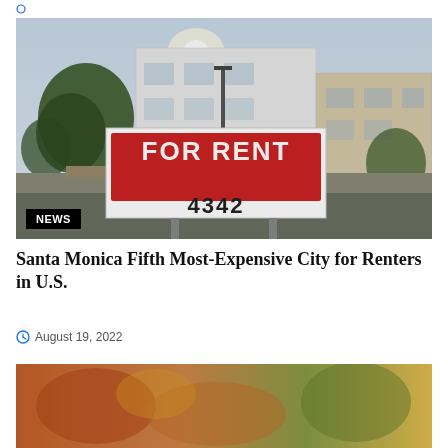[Figure (photo): A red 'FOR RENT' sign in front of apartment buildings at dusk, with a phone number partially visible (4342). A black badge reading 'NEWS' appears in the lower-left corner of the photo.]
Santa Monica Fifth Most-Expensive City for Renters in U.S.
August 19, 2022
[Figure (photo): Partial view of a food photo at the bottom of the page, cropped.]